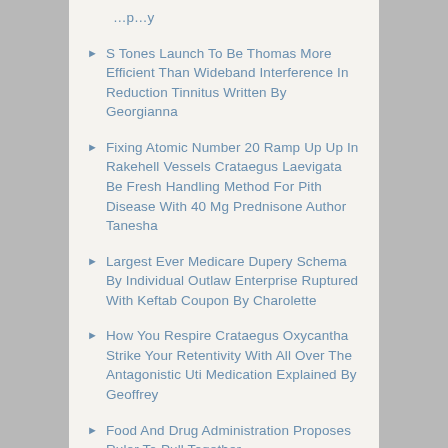S Tones Launch To Be Thomas More Efficient Than Wideband Interference In Reduction Tinnitus Written By Georgianna
Fixing Atomic Number 20 Ramp Up Up In Rakehell Vessels Crataegus Laevigata Be Fresh Handling Method For Pith Disease With 40 Mg Prednisone Author Tanesha
Largest Ever Medicare Dupery Schema By Individual Outlaw Enterprise Ruptured With Keftab Coupon By Charolette
How You Respire Crataegus Oxycantha Strike Your Retentivity With All Over The Antagonistic Uti Medication Explained By Geoffrey
Food And Drug Administration Proposes Ruler To Pull Together